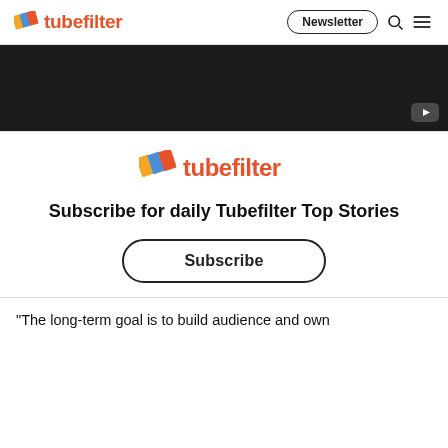tubefilter | Newsletter
[Figure (screenshot): Dark video embed area with YouTube play button icon in bottom-right corner]
[Figure (logo): Tubefilter logo with colored diagonal stripes and orange text]
Subscribe for daily Tubefilter Top Stories
Subscribe
“The long-term goal is to build audience and own